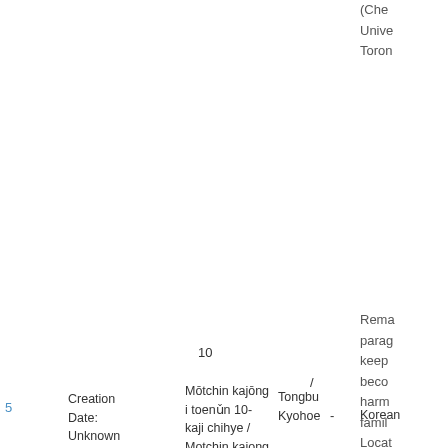(Che
Unive
Toron
10
/
Mōtchin kajōng i toenǔn 10-kaji chihye / Motchin kajong i toenun 10-kaji chihye
/
Tongbu
Kyohoe
5  Creation Date: Unknown
-
Korean
Rema
parag
keep
beco
harm
famil
Locat
Asian
Tung)
of Tor